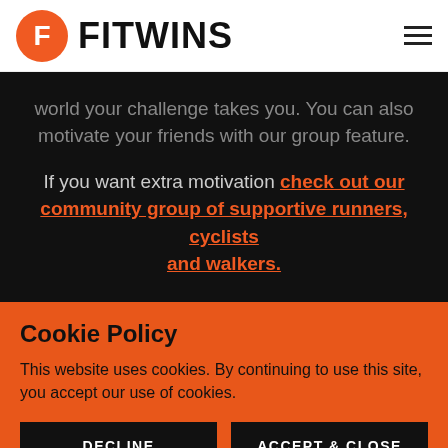FITWINS
world your challenge takes you. You can also motivate your friends with our group feature.
If you want extra motivation check out our community group of supportive runners, cyclists and walkers.
Cookie Policy
This website uses cookies. By continuing to use this site, you accept our use of cookies.
DECLINE
ACCEPT & CLOSE